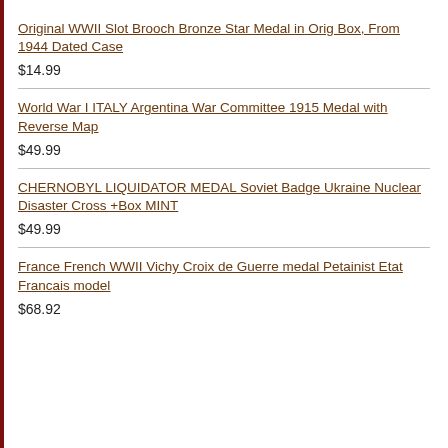Original WWII Slot Brooch Bronze Star Medal in Orig Box, From 1944 Dated Case
$14.99
World War I ITALY Argentina War Committee 1915 Medal with Reverse Map
$49.99
CHERNOBYL LIQUIDATOR MEDAL Soviet Badge Ukraine Nuclear Disaster Cross +Box MINT
$49.99
France French WWII Vichy Croix de Guerre medal Petainist Etat Francais model
$68.92